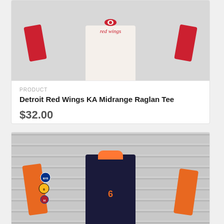[Figure (photo): Detroit Red Wings KA Midrange Raglan Tee — white body with red sleeves, hanging on display]
PRODUCT
Detroit Red Wings KA Midrange Raglan Tee
$32.00
[Figure (photo): NHL multi-team letterman/varsity jacket — dark navy body with orange sleeves, number 6 on front, team patches including Rangers, Bruins, Canadiens, hanging on slatwall display]